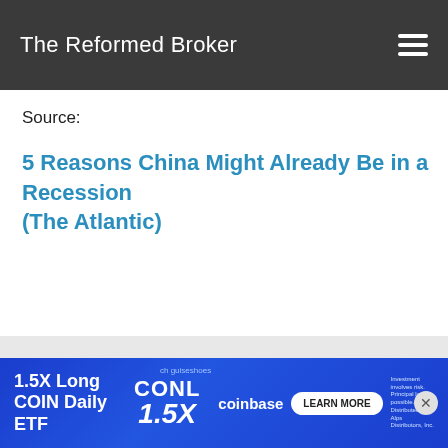The Reformed Broker
Source:
5 Reasons China Might Already Be in a Recession (The Atlantic)
[Figure (other): Advertisement banner: 1.5X Long COIN Daily ETF, CONL, 1.5X, coinbase, LEARN MORE button, with disclaimer text. Blue background with decorative circles.]